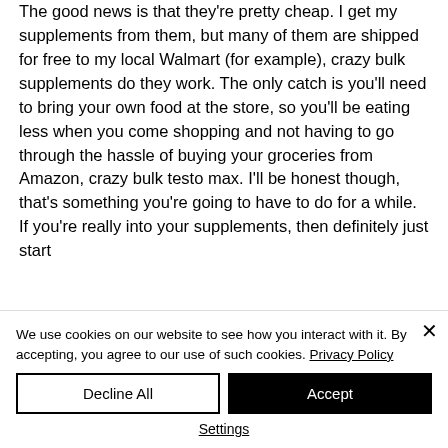The good news is that they're pretty cheap. I get my supplements from them, but many of them are shipped for free to my local Walmart (for example), crazy bulk supplements do they work. The only catch is you'll need to bring your own food at the store, so you'll be eating less when you come shopping and not having to go through the hassle of buying your groceries from Amazon, crazy bulk testo max. I'll be honest though, that's something you're going to have to do for a while. If you're really into your supplements, then definitely just start
We use cookies on our website to see how you interact with it. By accepting, you agree to our use of such cookies. Privacy Policy